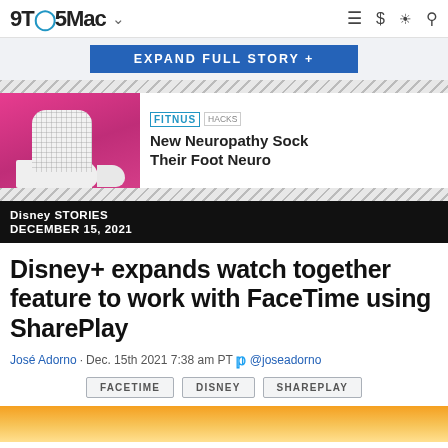9TO5Mac
EXPAND FULL STORY +
[Figure (photo): Advertisement showing a white mesh neuropathy sock on a pink background, with FitNus Hacks logo and headline: New Neuropathy Sock Their Foot Neuro]
Disney STORIES
DECEMBER 15, 2021
Disney+ expands watch together feature to work with FaceTime using SharePlay
José Adorno · Dec. 15th 2021 7:38 am PT @joseadorno
FACETIME
DISNEY
SHAREPLAY